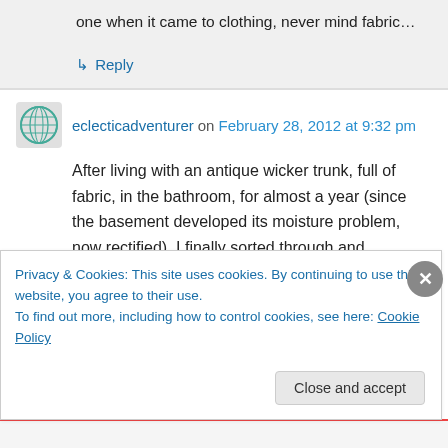one when it came to clothing, never mind fabric…
↳ Reply
eclecticadventurer on February 28, 2012 at 9:32 pm
After living with an antique wicker trunk, full of fabric, in the bathroom, for almost a year (since the basement developed its moisture problem, now rectified), I finally sorted through and
Privacy & Cookies: This site uses cookies. By continuing to use this website, you agree to their use. To find out more, including how to control cookies, see here: Cookie Policy
Close and accept